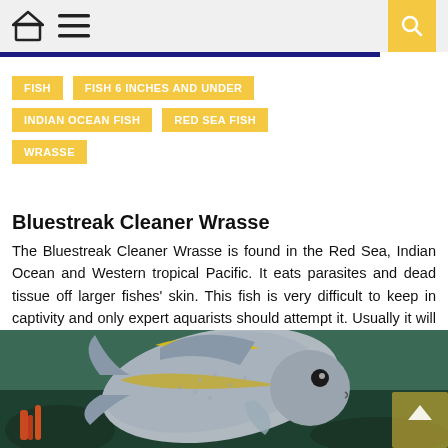🏠 ☰ 🔍
FISH
FISH 6 INCHES AND UNDER
INDIAN OCEAN FISH
RED SEA FISH
WRASSE
Bluestreak Cleaner Wrasse
The Bluestreak Cleaner Wrasse is found in the Red Sea, Indian Ocean and Western tropical Pacific. It eats parasites and dead tissue off larger fishes' skin. This fish is very difficult to keep in captivity and only expert aquarists should attempt it. Usually it will only survive a few weeks to a month before dying [...]
[Figure (photo): Underwater photo of a silver/grey angelfish with yellow markings swimming near coral reef]